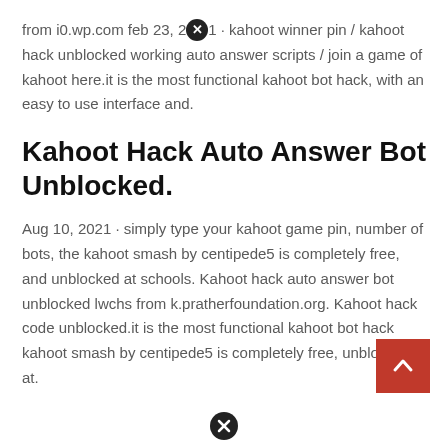from i0.wp.com feb 23, 2[x]1 · kahoot winner pin / kahoot hack unblocked working auto answer scripts / join a game of kahoot here.it is the most functional kahoot bot hack, with an easy to use interface and.
Kahoot Hack Auto Answer Bot Unblocked.
Aug 10, 2021 · simply type your kahoot game pin, number of bots, the kahoot smash by centipede5 is completely free, and unblocked at schools. Kahoot hack auto answer bot unblocked lwchs from k.pratherfoundation.org. Kahoot hack code unblocked.it is the most functional kahoot bot hack kahoot smash by centipede5 is completely free, unblocked at.